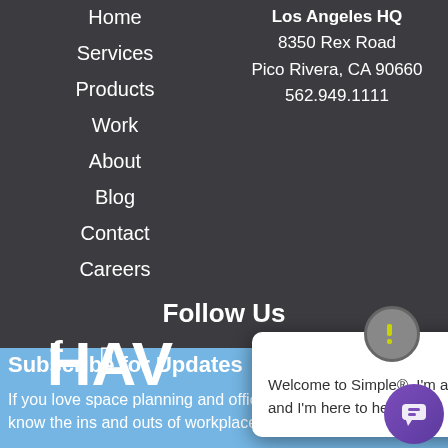Home
Services
Products
Work
About
Blog
Contact
Careers
Los Angeles HQ
8350 Rex Road
Pico Rivera, CA 90660
562.949.1111
Follow Us
[Figure (illustration): Social media icons: Facebook f icon and another icon partially visible]
HAV
[Figure (screenshot): Chatbot popup overlay with icon showing exclamation mark, X close button, and message: Welcome to Simple®. I'm a chatbot and I'm here to help.]
Subscribe for Updates
If you love space planning and office furniture and want to know the ins and outs of workplace design,